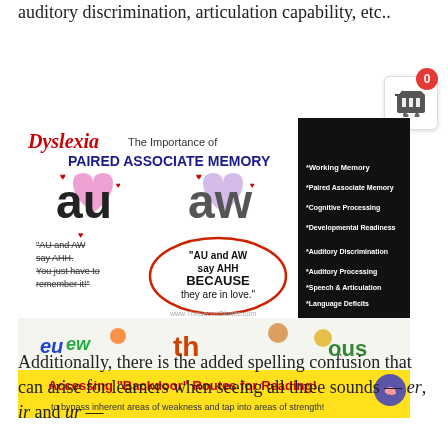auditory discrimination, articulation capability, etc..
[Figure (infographic): Educational infographic about Dyslexia and Paired Associate Memory showing 'au' and 'aw' phonics pairs with hearts, text 'AU and AW say AHH BECAUSE they are in love.' and a lower panel about Accessing Backdoor Routes for Reading with phonics character illustrations.]
Additionally, there is the added spelling confusion that can arise for learners when seeing all three sounds — er, ir and ur —